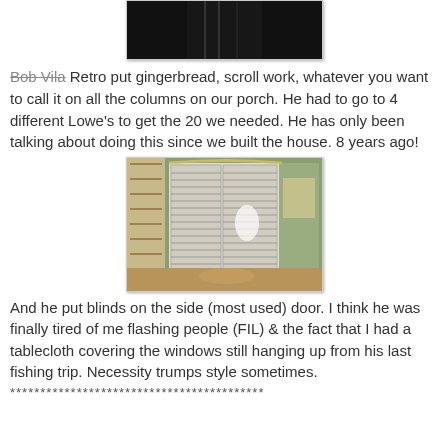[Figure (photo): Dark/black image, partial view at top of page]
Bob Vila Retro put gingerbread, scroll work, whatever you want to call it on all the columns on our porch. He had to go to 4 different Lowe's to get the 20 we needed. He has only been talking about doing this since we built the house. 8 years ago!
[Figure (photo): Interior photo showing a side door with white shuttered blinds, bookshelves on the left, green walls, and a wooden chair in foreground]
And he put blinds on the side (most used) door. I think he was finally tired of me flashing people (FIL) & the fact that I had a tablecloth covering the windows still hanging up from his last fishing trip. Necessity trumps style sometimes.
******************************************